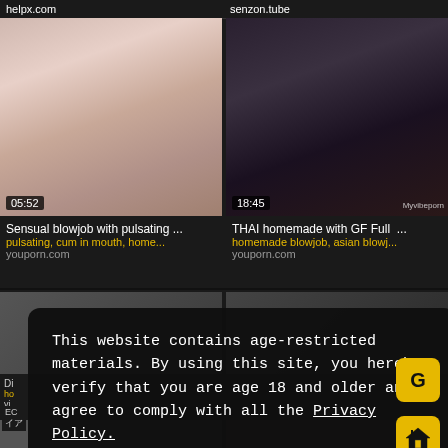helpx.com    senzon.tube
[Figure (screenshot): Video thumbnail showing blowjob scene with duration 05:52]
[Figure (screenshot): Video thumbnail showing person in dark t-shirt, duration 18:45, watermark Myvibeporn]
Sensual blowjob with pulsating ...
pulsating, cum in mouth, home...
youporn.com
THAI homemade with GF Full ...
homemade blowjob, asian blowj...
youporn.com
This website contains age-restricted materials. By using this site, you hereby verify that you are age 18 and older and agree to comply with all the Privacy Policy. We use cookies to provide you the best possible experience on our website and to monitor website traffic. Cookies Policy.